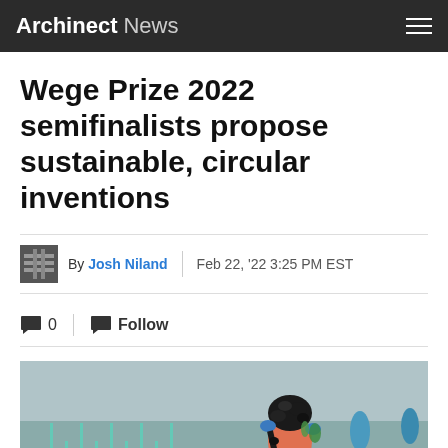Archinect News
Wege Prize 2022 semifinalists propose sustainable, circular inventions
By Josh Niland | Feb 22, '22 3:25 PM EST
0   Follow
[Figure (photo): Person holding a rope or bundle covered in mussels/shellfish at a marine farm with rows of cultivation structures in the background]